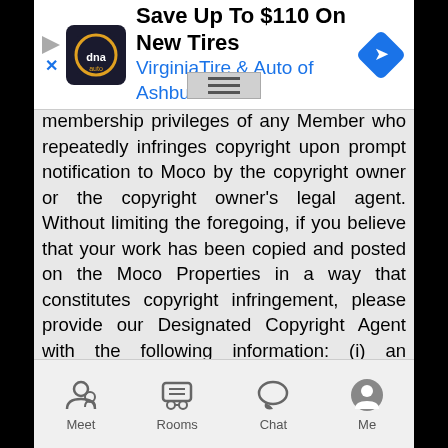[Figure (screenshot): Advertisement banner for Virginia Tire & Auto of Ashburn Fa. with logo, text 'Save Up To $110 On New Tires', navigation icons, and a blue diamond direction icon.]
membership privileges of any Member who repeatedly infringes copyright upon prompt notification to Moco by the copyright owner or the copyright owner's legal agent. Without limiting the foregoing, if you believe that your work has been copied and posted on the Moco Properties in a way that constitutes copyright infringement, please provide our Designated Copyright Agent with the following information: (i) an electronic or physical signature of the person authorized to act on behalf of the owner of the copyright interest; (ii) a description of the copyrighted work that you claim has been infringed; (iii) a description of where the material that you claim is infringing is located on Moco; (iv) your address, telephone number, and email address; (v) a written statement by you that you have a good faith belief that the disputed use is not authorized by the copyright owner, its agent, or the law; (vi) a statement by you, made under penalty of perjury, that the above information in your notice is accurate and that you are the copyright owner or authorized to act on the copyright owner's behalf. Moco's Designated Copyright Agent
[Figure (screenshot): Bottom navigation bar with Meet, Rooms, Chat, and Me icons]